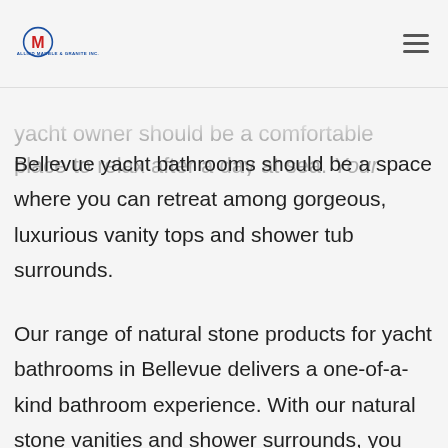Allied Marble & Granite Inc. logo and navigation menu
yacht bathrooms in the Bellevue yacht owner should be a comfortable place to relax after a day at sea. Your Bellevue yacht bathrooms should be a space where you can retreat among gorgeous, luxurious vanity tops and shower tub surrounds.
Our range of natural stone products for yacht bathrooms in Bellevue delivers a one-of-a-kind bathroom experience. With our natural stone vanities and shower surrounds, you can ensure your yacht bathrooms in Bellevue look both stylish and elegant